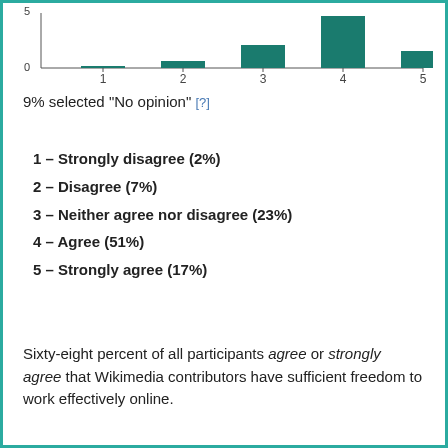[Figure (bar-chart): ]
9% selected "No opinion" [?]
1 – Strongly disagree (2%)
2 – Disagree (7%)
3 – Neither agree nor disagree (23%)
4 – Agree (51%)
5 – Strongly agree (17%)
Sixty-eight percent of all participants agree or strongly agree that Wikimedia contributors have sufficient freedom to work effectively online.